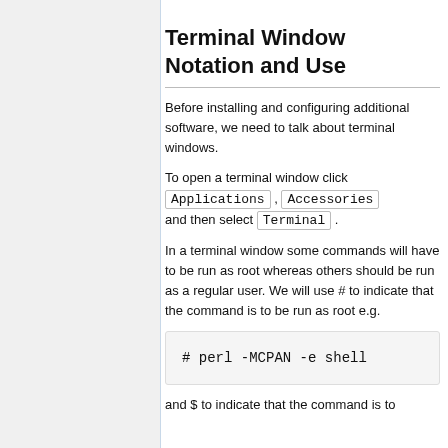Terminal Window Notation and Use
Before installing and configuring additional software, we need to talk about terminal windows.
To open a terminal window click Applications , Accessories and then select Terminal .
In a terminal window some commands will have to be run as root whereas others should be run as a regular user. We will use # to indicate that the command is to be run as root e.g.
# perl -MCPAN -e shell
and $ to indicate that the command is to